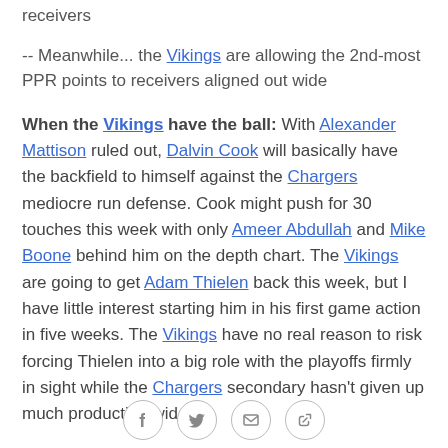receivers
-- Meanwhile... the Vikings are allowing the 2nd-most PPR points to receivers aligned out wide
When the Vikings have the ball: With Alexander Mattison ruled out, Dalvin Cook will basically have the backfield to himself against the Chargers mediocre run defense. Cook might push for 30 touches this week with only Ameer Abdullah and Mike Boone behind him on the depth chart. The Vikings are going to get Adam Thielen back this week, but I have little interest starting him in his first game action in five weeks. The Vikings have no real reason to risk forcing Thielen into a big role with the playoffs firmly in sight while the Chargers secondary hasn't given up much production wide receivers. With Thielen...